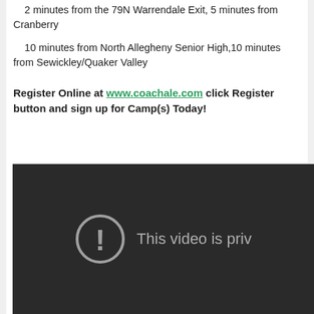2 minutes from the 79N Warrendale Exit, 5 minutes from Cranberry
10 minutes from North Allegheny Senior High,10 minutes from Sewickley/Quaker Valley
Register Online at www.coachale.com click Register button and sign up for Camp(s) Today!
[Figure (screenshot): Dark video player showing a private video error message with an exclamation mark icon and text 'This video is priv']